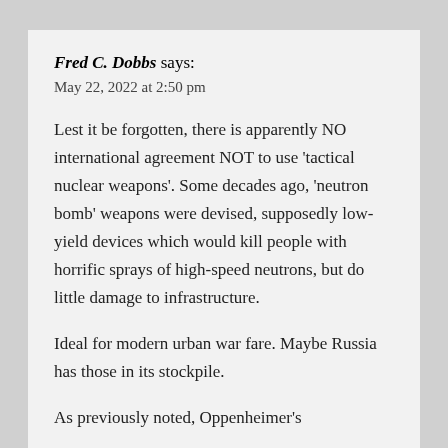Fred C. Dobbs says:
May 22, 2022 at 2:50 pm
Lest it be forgotten, there is apparently NO international agreement NOT to use ‘tactical nuclear weapons’. Some decades ago, ‘neutron bomb’ weapons were devised, supposedly low-yield devices which would kill people with horrific sprays of high-speed neutrons, but do little damage to infrastructure.
Ideal for modern urban war fare. Maybe Russia has those in its stockpile.
As previously noted, Oppenheimer’s